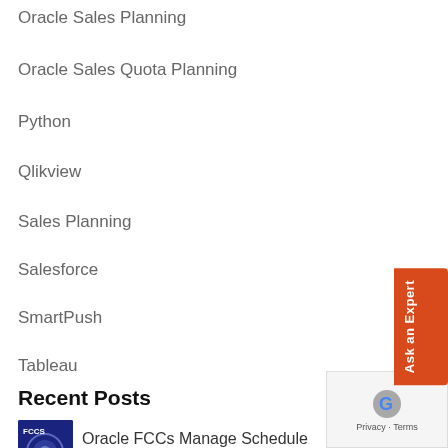Oracle Sales Planning
Oracle Sales Quota Planning
Python
Qlikview
Sales Planning
Salesforce
SmartPush
Tableau
Recent Posts
[Figure (photo): Thumbnail image for Oracle FCCs Manage Schedule post — dark blue background with FCCS text and circular graphic]
Oracle FCCs Manage Schedule